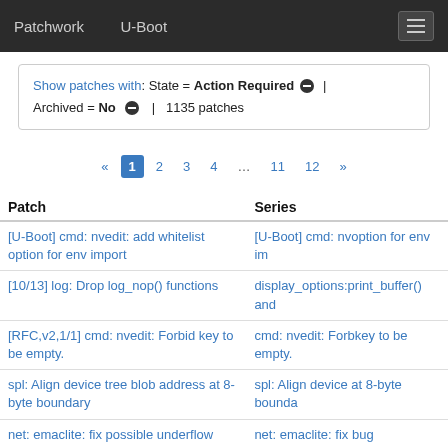Patchwork   U-Boot
Show patches with: State = Action Required ⊖ | Archived = No ⊖ | 1135 patches
« 1 2 3 4 ... 11 12 »
| Patch | Series |
| --- | --- |
| [U-Boot] cmd: nvedit: add whitelist option for env import | [U-Boot] cmd: nv... option for env im... |
| [10/13] log: Drop log_nop() functions | display_options: ... print_buffer() and... |
| [RFC,v2,1/1] cmd: nvedit: Forbid key to be empty. | cmd: nvedit: Forb... key to be empty. |
| spl: Align device tree blob address at 8-byte boundary | spl: Align device ... at 8-byte bounda... |
| net: emaclite: fix possible underflow bug | net: emaclite: fix ... bug |
| dts: khadas Edge: Use devicetree for SMBIOS settings | dts: khadas Edge... for SMBIOS sett... |